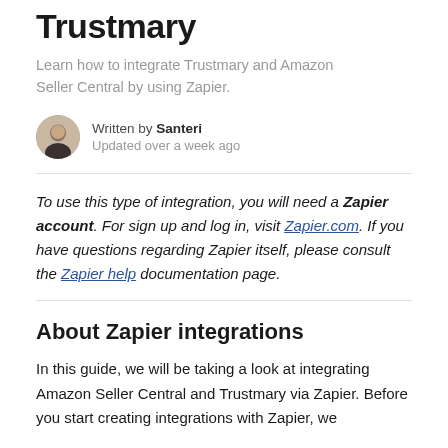Trustmary
Learn how to integrate Trustmary and Amazon Seller Central by using Zapier.
Written by Santeri
Updated over a week ago
To use this type of integration, you will need a Zapier account. For sign up and log in, visit Zapier.com. If you have questions regarding Zapier itself, please consult the Zapier help documentation page.
About Zapier integrations
In this guide, we will be taking a look at integrating Amazon Seller Central and Trustmary via Zapier. Before you start creating integrations with Zapier, we